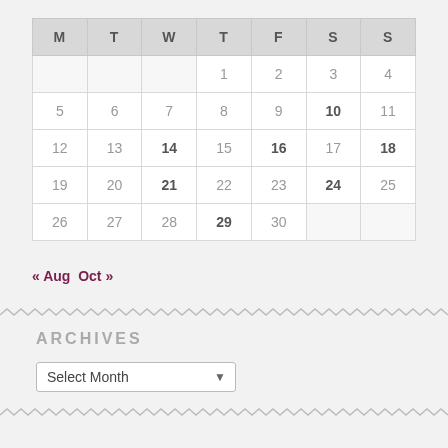| M | T | W | T | F | S | S |
| --- | --- | --- | --- | --- | --- | --- |
|  |  |  | 1 | 2 | 3 | 4 |
| 5 | 6 | 7 | 8 | 9 | 10 | 11 |
| 12 | 13 | 14 | 15 | 16 | 17 | 18 |
| 19 | 20 | 21 | 22 | 23 | 24 | 25 |
| 26 | 27 | 28 | 29 | 30 |  |  |
« Aug  Oct »
ARCHIVES
Select Month